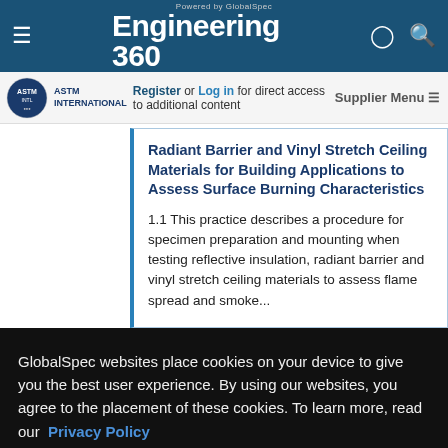Engineering 360 — Powered by GlobalSpec
Register or Log in for direct access to additional content
Radiant Barrier and Vinyl Stretch Ceiling Materials for Building Applications to Assess Surface Burning Characteristics
1.1 This practice describes a procedure for specimen preparation and mounting when testing reflective insulation, radiant barrier and vinyl stretch ceiling materials to assess flame spread and smoke...
GlobalSpec websites place cookies on your device to give you the best user experience. By using our websites, you agree to the placement of these cookies. To learn more, read our Privacy Policy
Accept & Close